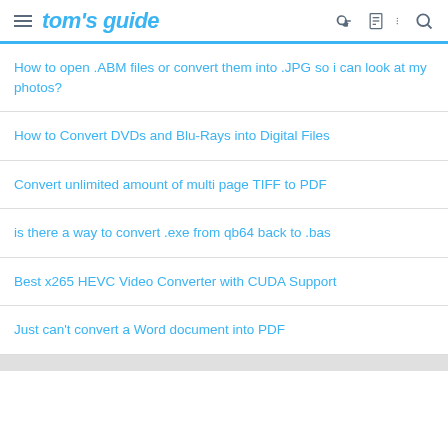tom's guide
How to open .ABM files or convert them into .JPG so i can look at my photos?
How to Convert DVDs and Blu-Rays into Digital Files
Convert unlimited amount of multi page TIFF to PDF
is there a way to convert .exe from qb64 back to .bas
Best x265 HEVC Video Converter with CUDA Support
Just can't convert a Word document into PDF